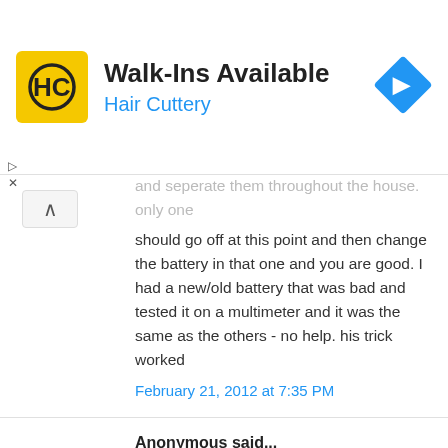[Figure (other): Hair Cuttery advertisement banner with yellow square logo showing HC initials, text 'Walk-Ins Available' and 'Hair Cuttery' in blue, and a blue diamond navigation icon on the right]
and seperate them throughout the house. only one should go off at this point and then change the battery in that one and you are good. I had a new/old battery that was bad and tested it on a multimeter and it was the same as the others - no help. his trick worked
February 21, 2012 at 7:35 PM
Anonymous said...
Give this a try! We tried pulling out the little metal prong that the battery connectors touch, just a little so it was bent a little more out, and that seems to have done the trick. My boyfriend used his multitool or a screwdriver to pull it out just a little bit. Seems like the batteries weren't completely connecting with the detector.
February 26, 2012 at 5:29 PM